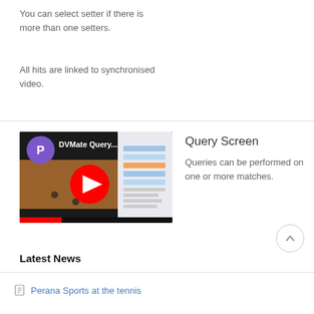You can select setter if there is more than one setters.
All hits are linked to synchronised video.
[Figure (screenshot): YouTube video thumbnail for 'DVMate Query...' with purple avatar 'P' and red play button]
Query Screen
Queries can be performed on one or more matches.
Latest News
Perana Sports at the tennis